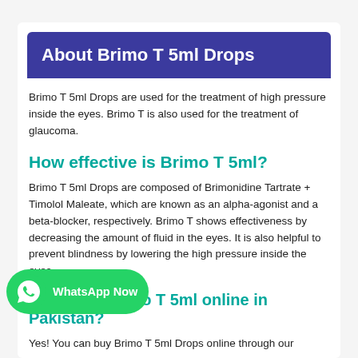About Brimo T 5ml Drops
Brimo T 5ml Drops are used for the treatment of high pressure inside the eyes. Brimo T is also used for the treatment of glaucoma.
How effective is Brimo T 5ml?
Brimo T 5ml Drops are composed of Brimonidine Tartrate + Timolol Maleate, which are known as an alpha-agonist and a beta-blocker, respectively. Brimo T shows effectiveness by decreasing the amount of fluid in the eyes. It is also helpful to prevent blindness by lowering the high pressure inside the eyes.
Can I buy Brimo T 5ml online in Pakistan?
Yes! You can buy Brimo T 5ml Drops online through our